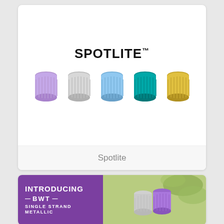[Figure (illustration): Product card showing SPOTLITE™ brand logo in bold black text with five metallic thread spools in purple, silver, blue, teal, and gold colors arranged in a row]
Spotlite
[Figure (photo): Partially visible promotional card for BWT (Bright Weight Thread) with purple background and white text reading INTRODUCING — BWT — SINGLE STRAND METALLIC, alongside a photo of metallic thread spools against a green botanical background]